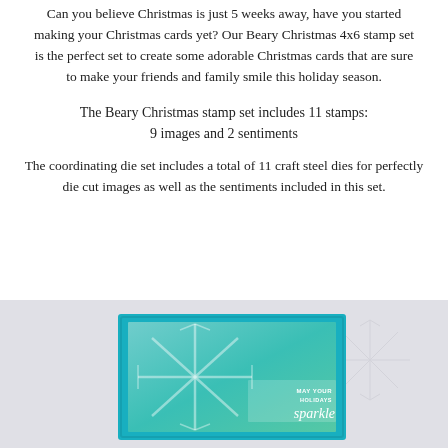Can you believe Christmas is just 5 weeks away, have you started making your Christmas cards yet? Our Beary Christmas 4x6 stamp set is the perfect set to create some adorable Christmas cards that are sure to make your friends and family smile this holiday season.
The Beary Christmas stamp set includes 11 stamps: 9 images and 2 sentiments
The coordinating die set includes a total of 11 craft steel dies for perfectly die cut images as well as the sentiments included in this set.
[Figure (photo): A Christmas card featuring a teal/turquoise background with white snowflake designs. A banner reads 'MAY YOUR HOLIDAYS' with italic sparkle text below. The card is on a light gray background with subtle snowflake outlines.]